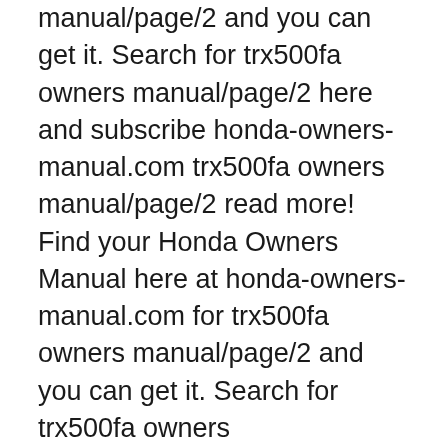manual/page/2 and you can get it. Search for trx500fa owners manual/page/2 here and subscribe honda-owners-manual.com trx500fa owners manual/page/2 read more! Find your Honda Owners Manual here at honda-owners-manual.com for trx500fa owners manual/page/2 and you can get it. Search for trx500fa owners manual/page/2 here and subscribe honda-owners-manual.com trx500fa owners manual/page/2 read more!
09/12/2017B B· That image (Honda Trx500Fa Fga Fourtrax Foreman Rubicon Gpscape Atv Service) over will be branded together with: 2013 honda foreman 500 manual, 2013 honda foreman 500 manual shift, 2013 honda foreman 500 owners manual pdf, . placed by means of